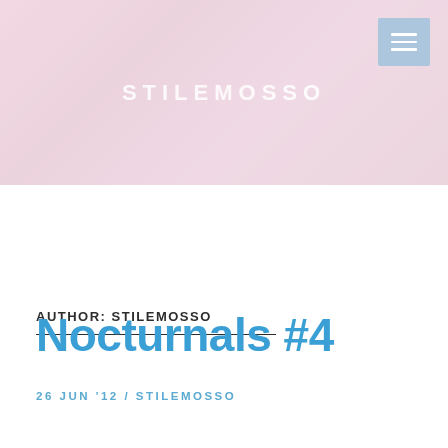[Figure (photo): Website header banner with pink/rose gradient background showing partial figure and STILEMOSSO logo text centered in white, with a light blue menu icon in top right corner]
AUTHOR: STILEMOSSO
Nocturnals #4
26 JUN '12 / STILEMOSSO